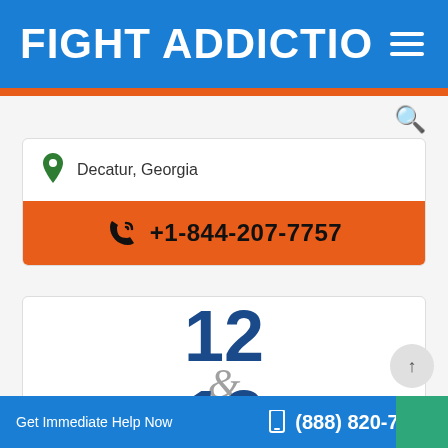FIGHT ADDICTIO
Decatur, Georgia
+1-844-207-7757
[Figure (logo): 12 & 12 logo with large bold blue numerals '12' stacked with an ampersand '&' in grey between them]
Get Immediate Help Now  (888) 820-7985